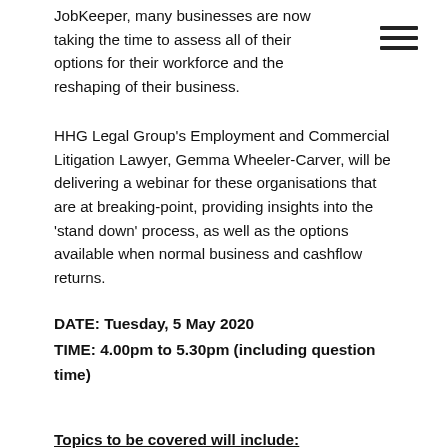JobKeeper, many businesses are now taking the time to assess all of their options for their workforce and the reshaping of their business.
HHG Legal Group's Employment and Commercial Litigation Lawyer, Gemma Wheeler-Carver, will be delivering a webinar for these organisations that are at breaking-point, providing insights into the 'stand down' process, as well as the options available when normal business and cashflow returns.
DATE: Tuesday, 5 May 2020
TIME: 4.00pm to 5.30pm (including question time)
Topics to be covered will include:
The test of when you can stand down employees